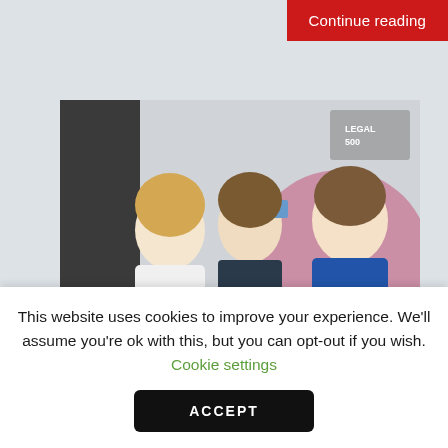Continue reading
[Figure (photo): Three women posing for a selfie at a Legal 500 event, with a branded backdrop visible behind them.]
GC Powerlist: Iberia Portugal 2022
The Legal 500 joined PLMJ at their offices in Lisbon, Portugal to celebrate the fifth edition of GC Powerlist: Iberia Portugal 2022. On 30 June
This website uses cookies to improve your experience. We'll assume you're ok with this, but you can opt-out if you wish. Cookie settings
ACCEPT